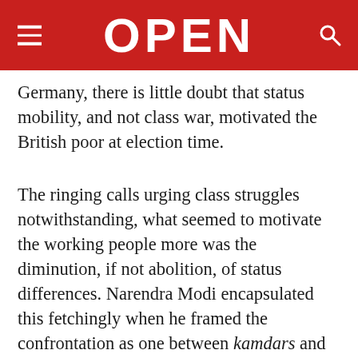OPEN
Germany, there is little doubt that status mobility, and not class war, motivated the British poor at election time.
The ringing calls urging class struggles notwithstanding, what seemed to motivate the working people more was the diminution, if not abolition, of status differences. Narendra Modi encapsulated this fetchingly when he framed the confrontation as one between kamdars and namdars, and not between the poor and the rich. Modi knew that the poor wanted to get rich (who doesn't?), but